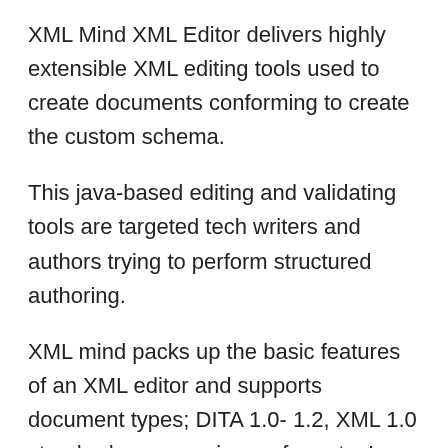XML Mind XML Editor delivers highly extensible XML editing tools used to create documents conforming to create the custom schema.
This java-based editing and validating tools are targeted tech writers and authors trying to perform structured authoring.
XML mind packs up the basic features of an XML editor and supports document types; DITA 1.0- 1.2, XML 1.0 standard, common image formats, I.e., JPG, TIFF, PNG, BMP, etc., published sources in document formats like HTML and PDF.
Features and benefits-